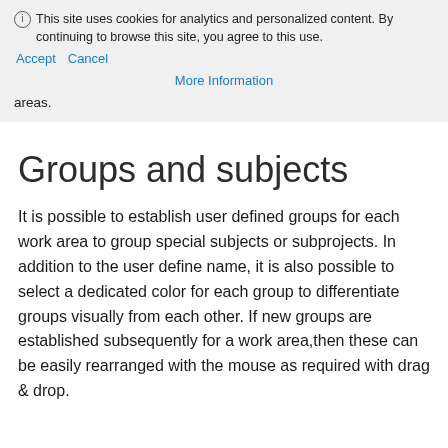ⓘ This site uses cookies for analytics and personalized content. By continuing to browse this site, you agree to this use.
Accept   Cancel
More Information
areas.
Groups and subjects
It is possible to establish user defined groups for each work area to group special subjects or subprojects. In addition to the user define name, it is also possible to select a dedicated color for each group to differentiate groups visually from each other. If new groups are established subsequently for a work area,then these can be easily rearranged with the mouse as required with drag & drop.